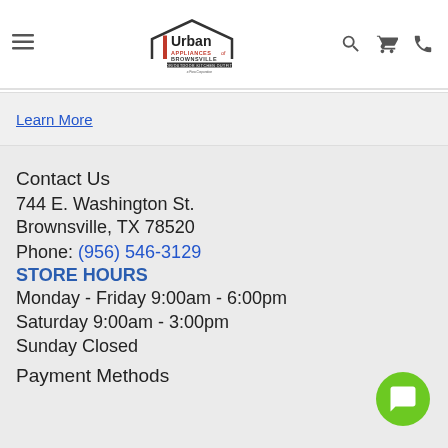Urban Appliances of Brownsville — Indoor/Outdoor Kitchen Outfitters — a Para Corporation
Learn More
Contact Us
744 E. Washington St.
Brownsville, TX 78520
Phone: (956) 546-3129
STORE HOURS
Monday - Friday 9:00am - 6:00pm
Saturday 9:00am - 3:00pm
Sunday Closed
Payment Methods